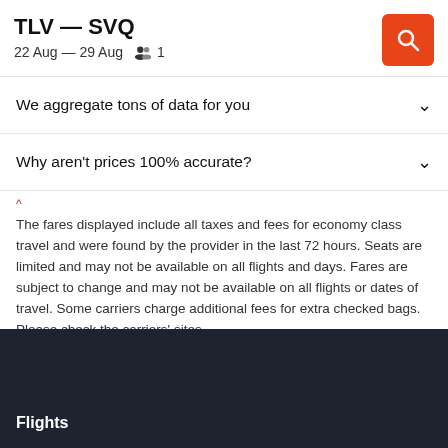TLV — SVQ
22 Aug — 29 Aug   1
We aggregate tons of data for you
Why aren't prices 100% accurate?
The fares displayed include all taxes and fees for economy class travel and were found by the provider in the last 72 hours. Seats are limited and may not be available on all flights and days. Fares are subject to change and may not be available on all flights or dates of travel. Some carriers charge additional fees for extra checked bags. Please check the carriers' sites.
Flights